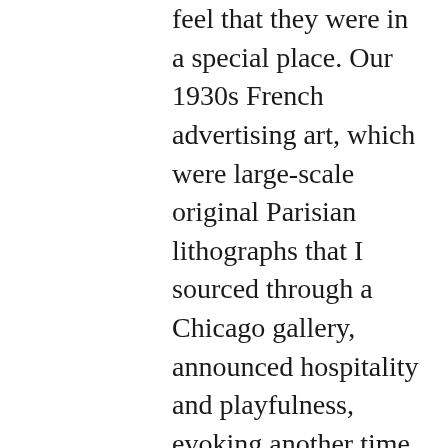feel that they were in a special place. Our 1930s French advertising art, which were large-scale original Parisian lithographs that I sourced through a Chicago gallery, announced hospitality and playfulness, evoking another time and place in our little spot on Glenwood South before there was much else there. Our aim was to make people feel welcome and comfortable there, but also to feel like they were having a bit of an out-of-town experience.

My vision for Vin's design was a space that was crisp and modern, with a bit of an urban edginess plus a nod to Paris bistros. So upon entering the